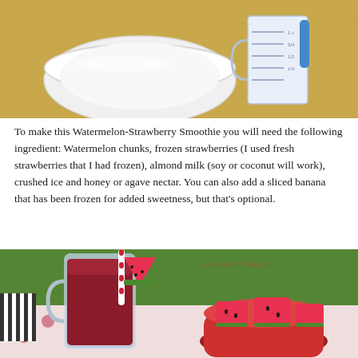[Figure (photo): A white ceramic bowl and a clear measuring cup with blue handle on a wooden surface, ingredients for a smoothie recipe.]
To make this Watermelon-Strawberry Smoothie you will need the following ingredient: Watermelon chunks, frozen strawberries (I used fresh strawberries that I had frozen), almond milk (soy or coconut will work), crushed ice and honey or agave nectar. You can also add a sliced banana that has been frozen for added sweetness, but that's optional.
[Figure (photo): A mason jar glass filled with red watermelon-strawberry smoothie with a striped straw and a watermelon wedge garnish, beside a red bowl of watermelon chunks on a floral tablecloth with grass in the background. Watermark reads mommyskitchen.net.]